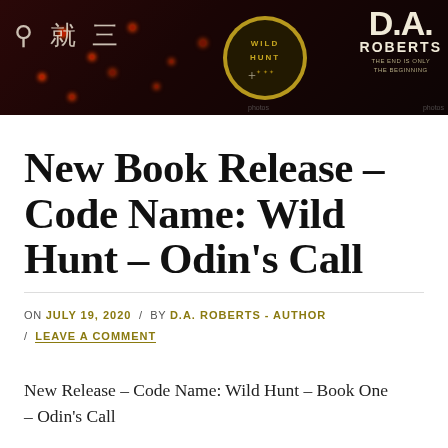[Figure (photo): Dark banner header image with red glowing dots/bokeh effect on left side, a circular Wild Hunt badge/logo in center, and D.A. Roberts author branding on the right with text 'THE END IS ONLY THE BEGINNING']
New Book Release – Code Name: Wild Hunt – Odin's Call
ON JULY 19, 2020 / BY D.A. ROBERTS - AUTHOR / LEAVE A COMMENT
New Release – Code Name: Wild Hunt – Book One – Odin's Call